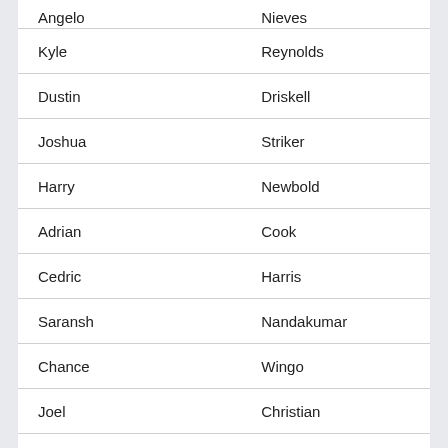| First Name | Last Name |
| --- | --- |
| Angelo | Nieves |
| Kyle | Reynolds |
| Dustin | Driskell |
| Joshua | Striker |
| Harry | Newbold |
| Adrian | Cook |
| Cedric | Harris |
| Saransh | Nandakumar |
| Chance | Wingo |
| Joel | Christian |